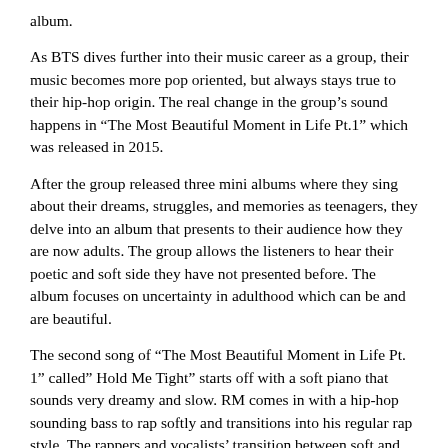album.
As BTS dives further into their music career as a group, their music becomes more pop oriented, but always stays true to their hip-hop origin. The real change in the group's sound happens in “The Most Beautiful Moment in Life Pt.1” which was released in 2015.
After the group released three mini albums where they sing about their dreams, struggles, and memories as teenagers, they delve into an album that presents to their audience how they are now adults. The group allows the listeners to hear their poetic and soft side they have not presented before. The album focuses on uncertainty in adulthood which can be and are beautiful.
The second song of “The Most Beautiful Moment in Life Pt. 1” called” Hold Me Tight” starts off with a soft piano that sounds very dreamy and slow. RM comes in with a hip-hop sounding bass to rap softly and transitions into his regular rap style. The rappers and vocalists’ transition between soft and loud dynamics to pull at your heart strings.